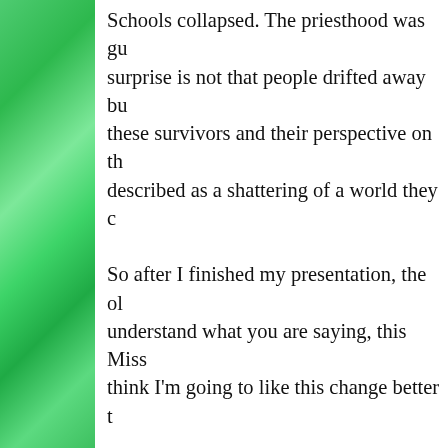Schools collapsed. The priesthood was gu... surprise is not that people drifted away bu... these survivors and their perspective on th... described as a shattering of a world they c...
So after I finished my presentation, the ol... understand what you are saying, this Miss... think I'm going to like this change better t...
Of course that's not really what I was sayi... preconciliar rite. But it does capture some... carelessly disregarded, so there was some...
The narrative that I provided above is still... world. People protest that the loss of peo...